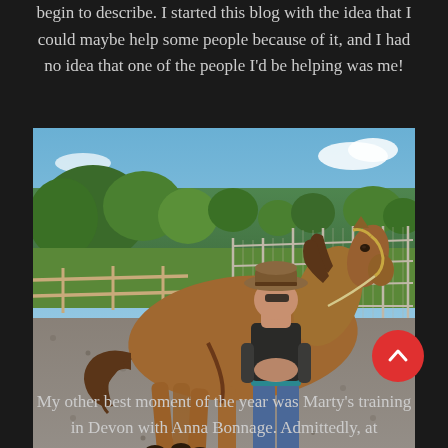begin to describe. I started this blog with the idea that I could maybe help some people because of it, and I had no idea that one of the people I'd be helping was me!
[Figure (photo): A woman wearing a cowboy hat and dark t-shirt stands next to a large chestnut/bay horse in a gravel paddock. The horse is wearing a halter with a lead rope. Metal fence panels and green trees are visible in the background under a partly cloudy blue sky.]
My other best moment of the year was Marty's training in Devon with Anna Bonnage. Admittedly, at